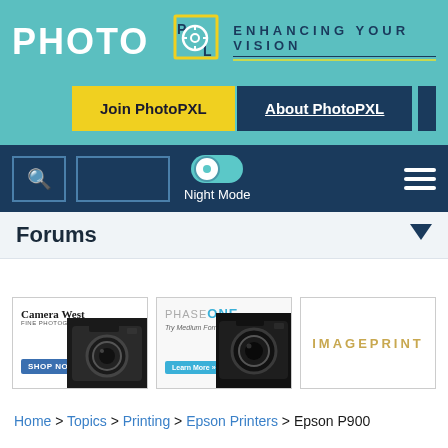[Figure (logo): PhotoPXL logo with teal background, camera icon, and tagline ENHANCING YOUR VISION]
[Figure (screenshot): Join PhotoPXL yellow button and About PhotoPXL dark blue button]
[Figure (screenshot): Navigation bar with search icon, input box, Night Mode toggle, and hamburger menu]
Forums
[Figure (photo): Camera West advertisement - SHOP NOW]
[Figure (photo): Phase ONE - Try Medium Format for Free - Learn More advertisement]
[Figure (logo): IMAGEPRINT advertisement]
Home > Topics > Printing > Epson Printers > Epson P900